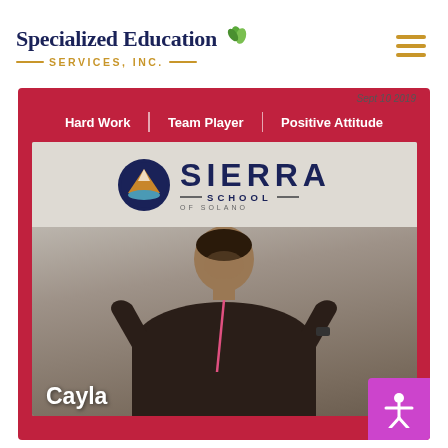Specialized Education SERVICES, INC.
[Figure (photo): Photo of a smiling woman named Cayla standing in front of a Sierra School of Solano sign, wearing a dark jacket with a pink lanyard. Overlaid text tags: Hard Work, Team Player, Positive Attitude. Date label: Sept 10 2019. Red border frame. Accessibility icon button in bottom-right corner.]